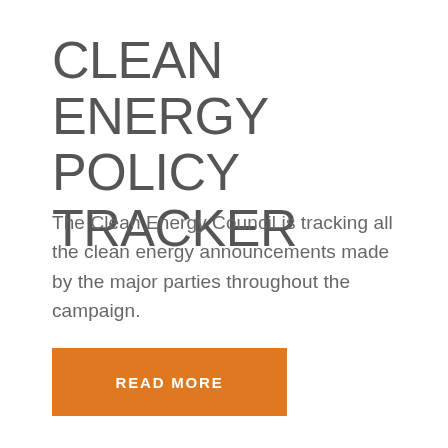CLEAN ENERGY POLICY TRACKER
The Clean Energy Council is tracking all the clean energy announcements made by the major parties throughout the campaign.
READ MORE